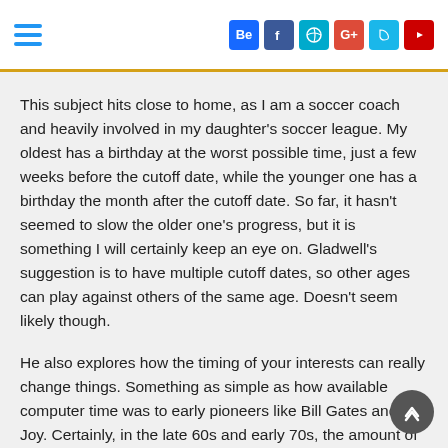Hamburger menu and social icons (Behance, Facebook, Dribbble, Google+, Vine, YouTube)
This subject hits close to home, as I am a soccer coach and heavily involved in my daughter's soccer league. My oldest has a birthday at the worst possible time, just a few weeks before the cutoff date, while the younger one has a birthday the month after the cutoff date. So far, it hasn't seemed to slow the older one's progress, but it is something I will certainly keep an eye on. Gladwell's suggestion is to have multiple cutoff dates, so other ages can play against others of the same age. Doesn't seem likely though.
He also explores how the timing of your interests can really change things. Something as simple as how available computer time was to early pioneers like Bill Gates and Bill Joy. Certainly, in the late 60s and early 70s, the amount of keyboard time these guys had pales in comparison to what would be available just a few years before that. He also talks about a major law firm in New York that benefited from getting the kinds of financial cases that other law firms wouldn't deal with, only to explode in popularity as